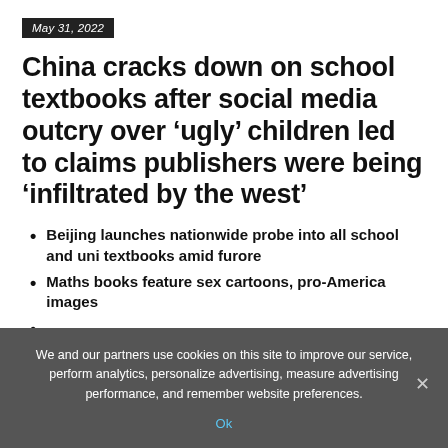May 31, 2022
China cracks down on school textbooks after social media outcry over ‘ugly’ children led to claims publishers were being ‘infiltrated by the west’
Beijing launches nationwide probe into all school and uni textbooks amid furore
Maths books feature sex cartoons, pro-America images
We and our partners use cookies on this site to improve our service, perform analytics, personalize advertising, measure advertising performance, and remember website preferences.
Ok